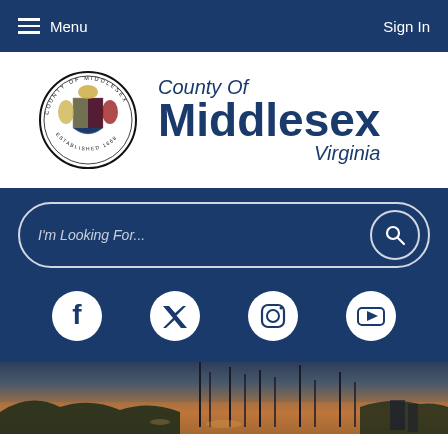Menu  Sign In
[Figure (logo): County of Middlesex Virginia logo with circular seal showing coat of arms, Established 1668]
[Figure (screenshot): Search bar with placeholder text 'I'm Looking For...' and search button]
[Figure (infographic): Social media icons row: Facebook, Twitter, Instagram, YouTube]
[Figure (photo): Sunset photo of marina with sailboat masts silhouetted against orange sky]